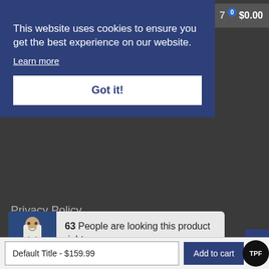This website uses cookies to ensure you get the best experience on our website.
Learn more
Got it!
$0.00
Privacy Policy
Terms of Service
Warranties, Shipping and Returns
Refund Policy
Contact Us
63 People are looking this product right now...
Default Title - $159.99
Add to cart
TPF